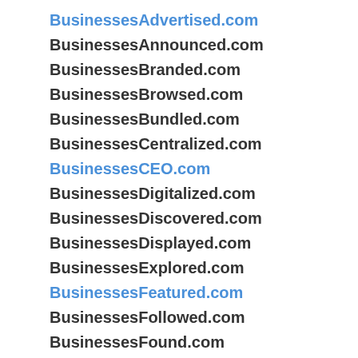BusinessesAdvertised.com
BusinessesAnnounced.com
BusinessesBranded.com
BusinessesBrowsed.com
BusinessesBundled.com
BusinessesCentralized.com
BusinessesCEO.com
BusinessesDigitalized.com
BusinessesDiscovered.com
BusinessesDisplayed.com
BusinessesExplored.com
BusinessesFeatured.com
BusinessesFollowed.com
BusinessesFound.com
BusinessesHighlighted.com
BusinessesHQ.com
BusinessesLiked.com
BusinessesListed.com
BusinessesLived.com
BusinessesMarketed.com